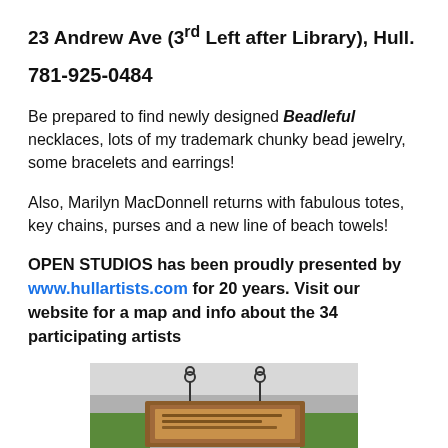23 Andrew Ave (3rd Left after Library), Hull.
781-925-0484
Be prepared to find newly designed Beadleful necklaces, lots of my trademark chunky bead jewelry, some bracelets and earrings!
Also, Marilyn MacDonnell returns with fabulous totes, key chains, purses and a new line of beach towels!
OPEN STUDIOS has been proudly presented by www.hullartists.com for 20 years. Visit our website for a map and info about the 34 participating artists
[Figure (photo): Hanging wooden sign photographed outdoors, with street and greenery visible in background.]